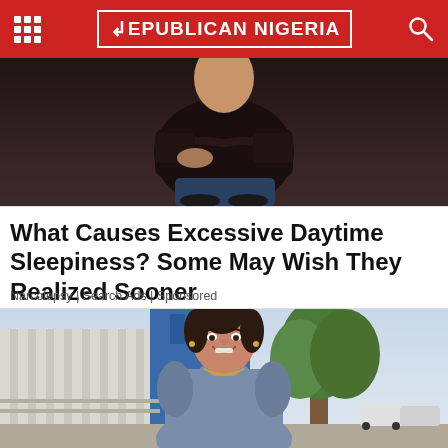REPUBLICAN NIGERIA
[Figure (photo): Person in dark clothing sitting with arms crossed, dark background]
What Causes Excessive Daytime Sleepiness? Some May Wish They Realized Sooner
Narcolepsy | Search Ads | Sponsored
[Figure (photo): Young woman with dark hair in bun, wearing gray top, smiling outdoors near building and trees]